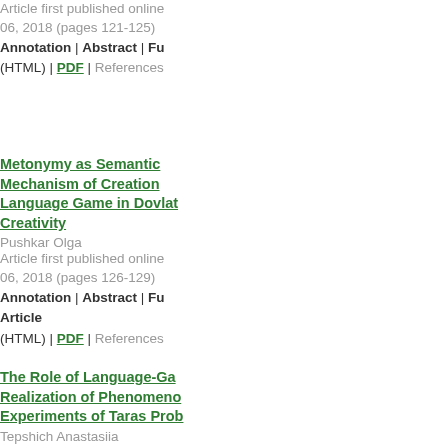Article first published online 06, 2018 (pages 121-125) Annotation | Abstract | Full Article (HTML) | PDF | References
Metonymy as Semantic Mechanism of Creation Language Game in Dovlatov's Creativity
Pushkar Olga
Article first published online 06, 2018 (pages 126-129)
Annotation | Abstract | Full Article (HTML) | PDF | References
The Role of Language-Game in Realization of Phenomenological Experiments of Taras Prokhasko
Tepshich Anastasiia
Article first published online 06, 2018 (pages 129-133)
Annotation | Abstract | Full Article (HTML) | PDF | References
Specific Features of British Play Title
Kholmohortseva Iryna
Article first published online 06, 2018 (pages 133-137)